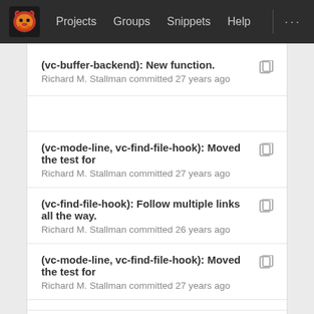Projects  Groups  Snippets  Help
(vc-buffer-backend): New function.
Richard M. Stallman committed 27 years ago
(vc-mode-line, vc-find-file-hook): Moved the test for
Richard M. Stallman committed 27 years ago
(vc-find-file-hook): Follow multiple links all the way.
Richard M. Stallman committed 26 years ago
(vc-mode-line, vc-find-file-hook): Moved the test for
Richard M. Stallman committed 27 years ago
(vc-follow-symlinks): New variable.
André Spiegel committed 26 years ago